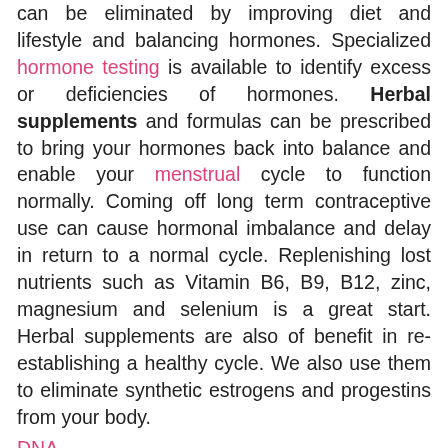can be eliminated by improving diet and lifestyle and balancing hormones. Specialized hormone testing is available to identify excess or deficiencies of hormones. Herbal supplements and formulas can be prescribed to bring your hormones back into balance and enable your menstrual cycle to function normally. Coming off long term contraceptive use can cause hormonal imbalance and delay in return to a normal cycle. Replenishing lost nutrients such as Vitamin B6, B9, B12, zinc, magnesium and selenium is a great start. Herbal supplements are also of benefit in re-establishing a healthy cycle. We also use them to eliminate synthetic estrogens and progestins from your body. DNA...